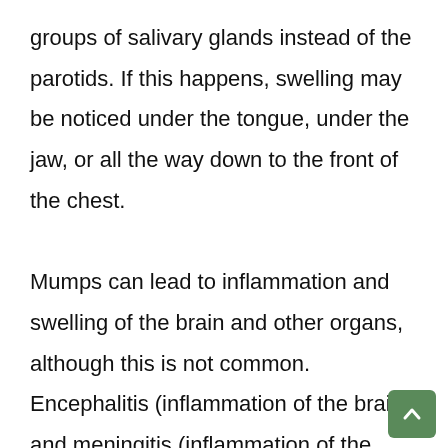groups of salivary glands instead of the parotids. If this happens, swelling may be noticed under the tongue, under the jaw, or all the way down to the front of the chest.

Mumps can lead to inflammation and swelling of the brain and other organs, although this is not common. Encephalitis (inflammation of the brain) and meningitis (inflammation of the lining of the brain and spinal cord) are both rare